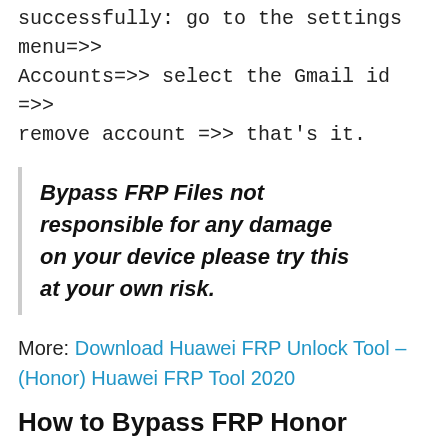successfully: go to the settings menu=>> Accounts=>> select the Gmail id =>> remove account =>> that's it.
Bypass FRP Files not responsible for any damage on your device please try this at your own risk.
More: Download Huawei FRP Unlock Tool – (Honor) Huawei FRP Tool 2020
How to Bypass FRP Honor